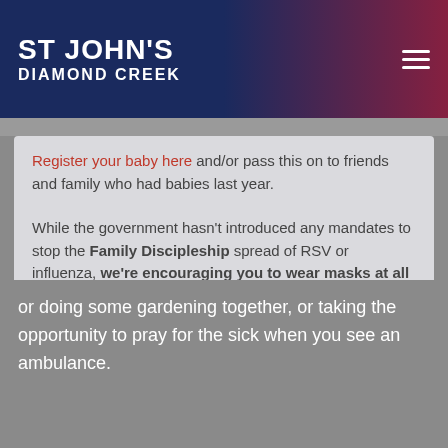ST JOHN'S DIAMOND CREEK
Register your baby here and/or pass this on to friends and family who had babies last year.
While the government hasn't introduced any mandates to stop the spread of RSV or influenza, we're encouraging you to wear masks at all in-person services. This won't be mandatory, but is a way to love your neighbour, as well as protect yourself.
If you're feeling well, we'd love to see you at an in-person service (8am, 10am, or 6pm), but if you're feeling crook, then our digital service is a great option. Find all our services here.
Family Discipleship
It is a great discipline to create a special time each day to spend with your kids, reading the bible and praying together, but Family Discipleship is also about intentionally leveraging moments throughout the day to turn your focus on God e.g. chatting about creation when on a walk or doing some gardening together, or taking the opportunity to pray for the sick when you see an ambulance.